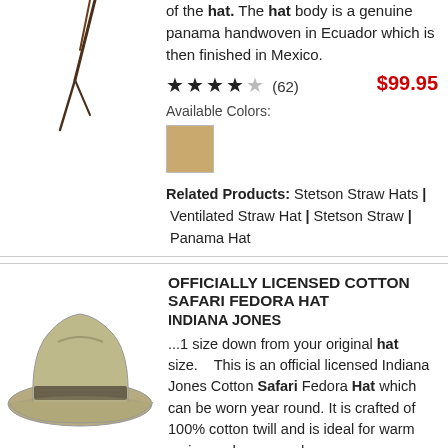[Figure (photo): Partial image of a hat with string/cord visible, top portion cropped]
of the hat. The hat body is a genuine panama handwoven in Ecuador which is then finished in Mexico.
★★★★☆ (62)   $99.95
Available Colors:
[Figure (other): Tan/beige color swatch square]
Related Products: Stetson Straw Hats | Ventilated Straw Hat | Stetson Straw | Panama Hat
[Figure (photo): Khaki/olive cotton safari fedora hat with dark band]
OFFICIALLY LICENSED COTTON SAFARI FEDORA HAT
INDIANA JONES
...1 size down from your original hat size.    This is an official licensed Indiana Jones Cotton Safari Fedora Hat which can be worn year round. It is crafted of 100% cotton twill and is ideal for warm spring and summer days